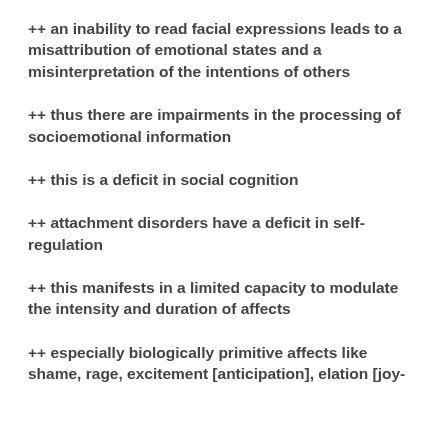++ an inability to read facial expressions leads to a misattribution of emotional states and a misinterpretation of the intentions of others
++ thus there are impairments in the processing of socioemotional information
++ this is a deficit in social cognition
++ attachment disorders have a deficit in self-regulation
++ this manifests in a limited capacity to modulate the intensity and duration of affects
++ especially biologically primitive affects like shame, rage, excitement [anticipation], elation [joy-